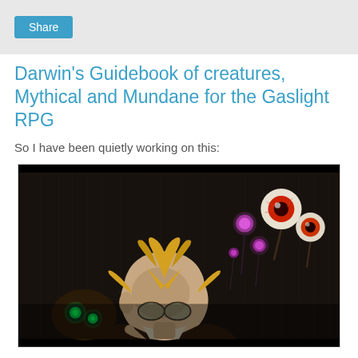Share
Darwin's Guidebook of creatures, Mythical and Mundane for the Gaslight RPG
So I have been quietly working on this:
[Figure (illustration): Dark fantasy illustration showing a bald man with round glasses looking downward, surrounded by glowing floating eyeball creatures and golden bird-like creatures with green glowing eyes, against a dark wooden background.]